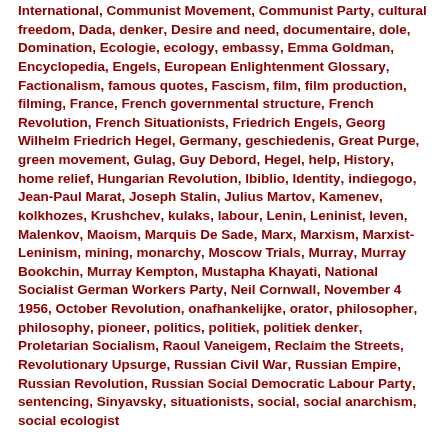International, Communist Movement, Communist Party, cultural freedom, Dada, denker, Desire and need, documentaire, dole, Domination, Ecologie, ecology, embassy, Emma Goldman, Encyclopedia, Engels, European Enlightenment Glossary, Factionalism, famous quotes, Fascism, film, film production, filming, France, French governmental structure, French Revolution, French Situationists, Friedrich Engels, Georg Wilhelm Friedrich Hegel, Germany, geschiedenis, Great Purge, green movement, Gulag, Guy Debord, Hegel, help, History, home relief, Hungarian Revolution, Ibiblio, Identity, indiegogo, Jean-Paul Marat, Joseph Stalin, Julius Martov, Kamenev, kolkhozes, Krushchev, kulaks, labour, Lenin, Leninist, leven, Malenkov, Maoism, Marquis De Sade, Marx, Marxism, Marxist-Leninism, mining, monarchy, Moscow Trials, Murray, Murray Bookchin, Murray Kempton, Mustapha Khayati, National Socialist German Workers Party, Neil Cornwall, November 4 1956, October Revolution, onafhankelijke, orator, philosopher, philosophy, pioneer, politics, politiek, politiek denker, Proletarian Socialism, Raoul Vaneigem, Reclaim the Streets, Revolutionary Upsurge, Russian Civil War, Russian Empire, Russian Revolution, Russian Social Democratic Labour Party, sentencing, Sinyavsky, situationists, social, social anarchism, social ecologist